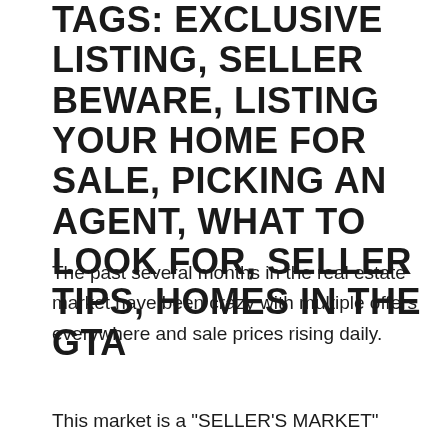TAGS: EXCLUSIVE LISTING, SELLER BEWARE, LISTING YOUR HOME FOR SALE, PICKING AN AGENT, WHAT TO LOOK FOR, SELLER TIPS, HOMES IN THE GTA
The past several months in the real estate market have been crazy with multiple offers everywhere and sale prices rising daily.
This market is a "SELLER'S MARKET"